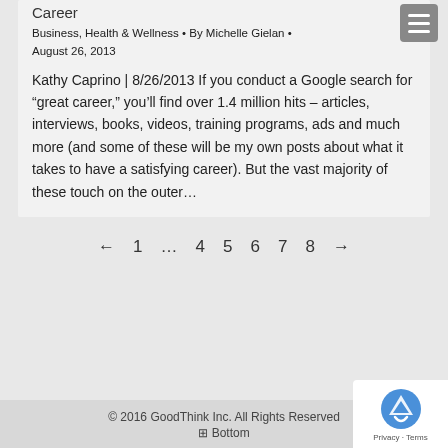Career
Business, Health & Wellness • By Michelle Gielan • August 26, 2013
Kathy Caprino | 8/26/2013 If you conduct a Google search for “great career,” you’ll find over 1.4 million hits – articles, interviews, books, videos, training programs, ads and much more (and some of these will be my own posts about what it takes to have a satisfying career). But the vast majority of these touch on the outer...
← 1 … 4 5 6 7 8 →
© 2016 GoodThink Inc. All Rights Reserved
⊡ Bottom